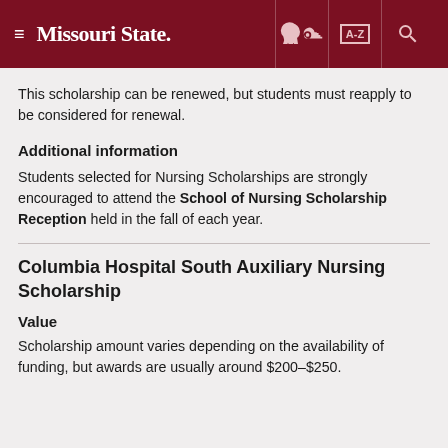Missouri State
This scholarship can be renewed, but students must reapply to be considered for renewal.
Additional information
Students selected for Nursing Scholarships are strongly encouraged to attend the School of Nursing Scholarship Reception held in the fall of each year.
Columbia Hospital South Auxiliary Nursing Scholarship
Value
Scholarship amount varies depending on the availability of funding, but awards are usually around $200–$250.